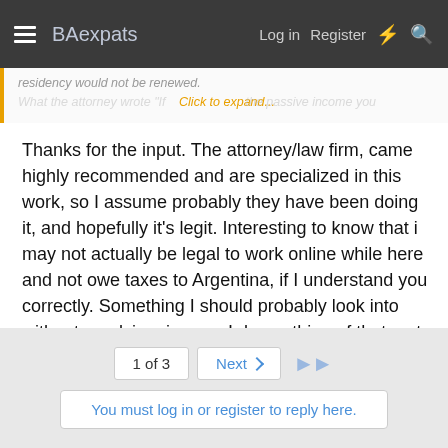BAexpats — Log in  Register
residency would not be renewed.
What the attorney wrote "If... Click to expand... the passive income you..."
Thanks for the input. The attorney/law firm, came highly recommended and are specialized in this work, so I assume probably they have been doing it, and hopefully it's legit. Interesting to know that i may not actually be legal to work online while here and not owe taxes to Argentina, if I understand you correctly. Something I should probably look into with a tax advisor in case I do anything of that sort. I assume you're talking about situations where you are paid more immediately, like for example, writing articles as oppose to writing a book that you might get paid some years later.
1 of 3  Next ▶  ▶▶
You must log in or register to reply here.